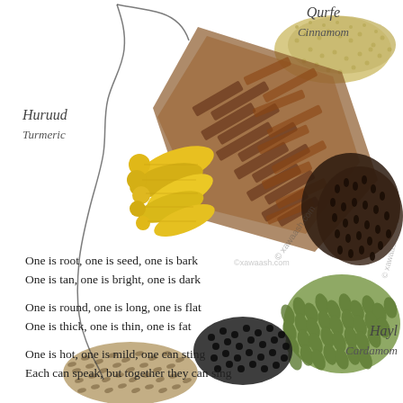[Figure (photo): Artistic arrangement of spices (turmeric roots, cinnamon bark, cloves, coriander seeds, black pepper, cardamom, cumin) forming a decorative shape on a white background with xawaash.com watermarks.]
Qurfe
Cinnamom
Huruud
Turmeric
Hayl
Cardamom
One is root, one is seed, one is bark
One is tan, one is bright, one is dark

One is round, one is long, one is flat
One is thick, one is thin, one is fat

One is hot, one is mild, one can sting
Each can speak, but together they can sing